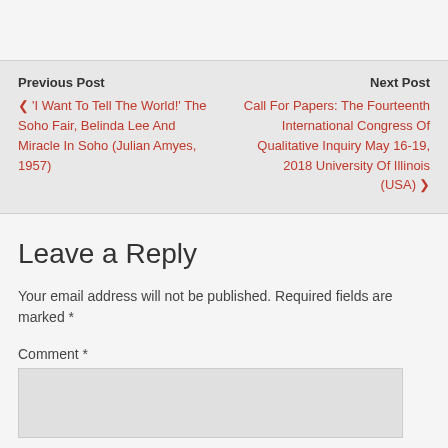Previous Post
❮ 'I Want To Tell The World!' The Soho Fair, Belinda Lee And Miracle In Soho (Julian Amyes, 1957)
Next Post
Call For Papers: The Fourteenth International Congress Of Qualitative Inquiry May 16-19, 2018 University Of Illinois (USA) ❯
Leave a Reply
Your email address will not be published. Required fields are marked *
Comment *